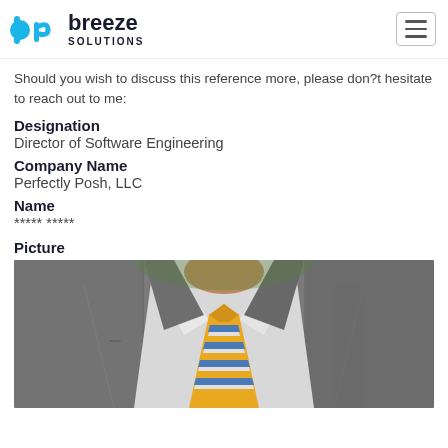Breeze Solutions logo and navigation
Should you wish to discuss this reference more, please don?t hesitate to reach out to me:
Designation
Director of Software Engineering
Company Name
Perfectly Posh, LLC
Name
***** *****
Picture
[Figure (photo): A man wearing a grey suit and a yellow, white, and blue striped tie, with greenery visible in the background. The person's face is not shown.]